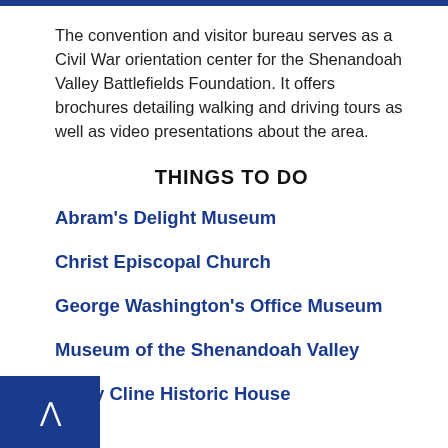The convention and visitor bureau serves as a Civil War orientation center for the Shenandoah Valley Battlefields Foundation. It offers brochures detailing walking and driving tours as well as video presentations about the area.
THINGS TO DO
Abram's Delight Museum
Christ Episcopal Church
George Washington's Office Museum
Museum of the Shenandoah Valley
Patsy Cline Historic House